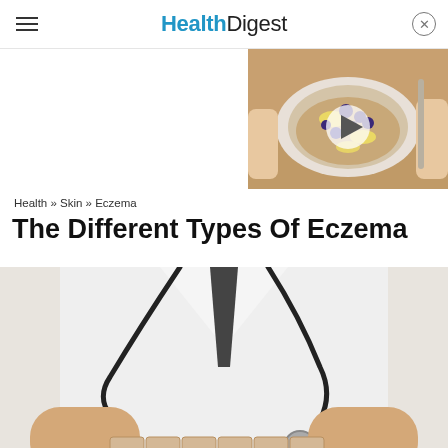Health Digest
[Figure (photo): Thumbnail of a bowl of oatmeal with blueberries and banana slices, with a play button overlay]
Health » Skin » Eczema
The Different Types Of Eczema
[Figure (photo): Doctor in white coat with stethoscope holding wooden letter blocks spelling ECZEMA on a white table]